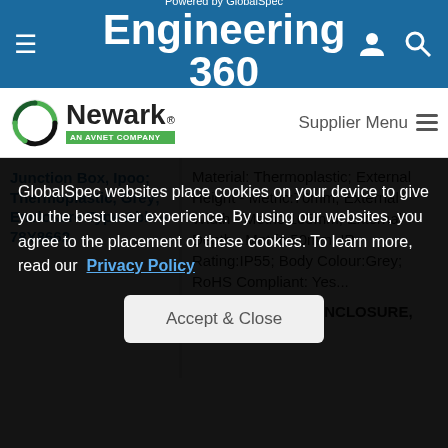Powered by GlobalSpec Engineering 360
[Figure (logo): Newark - An Avnet Company logo]
Supplier Menu
Junction Box, Ipoo; Thermoplastic, Grey; Enclosure Type Abb -- 78Y8662
Material: Thermoplastic; External Height - Metric:70mm; External Width - Metric:105mm; External Depth - Metric:50mm; IP Rating:IP55; Body Colour:Grey; RoHS Compliant: Yes...
MULTIPURPOSE ENCLOSURE, ABS, BLACK:
GlobalSpec websites place cookies on your device to give you the best user experience. By using our websites, you agree to the placement of these cookies. To learn more, read our Privacy Policy
Accept & Close